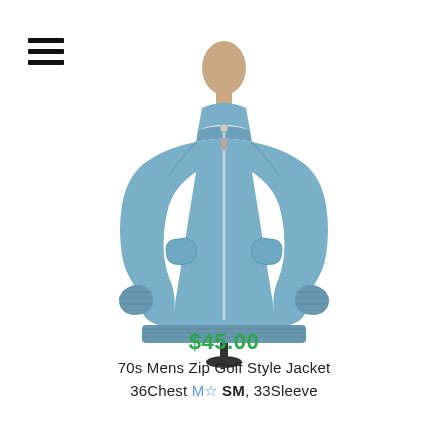[Figure (photo): Hamburger menu icon (three horizontal black lines) in upper left corner]
[Figure (photo): A light blue 70s mens zip golf style jacket displayed on a mannequin stand against a white background]
$45.00
70s Mens Zip Golf Style Jacket
36Chest M☆ SM, 33Sleeve